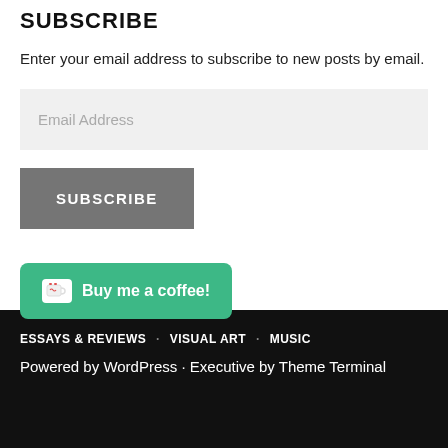SUBSCRIBE
Enter your email address to subscribe to new posts by email.
[Figure (screenshot): Email address input field with placeholder text 'Email Address' on a light grey background]
[Figure (screenshot): Grey SUBSCRIBE button with white uppercase text]
[Figure (screenshot): Green 'Buy me a coffee!' button with coffee cup icon]
ESSAYS & REVIEWS · VISUAL ART · MUSIC
Powered by WordPress · Executive by Theme Terminal